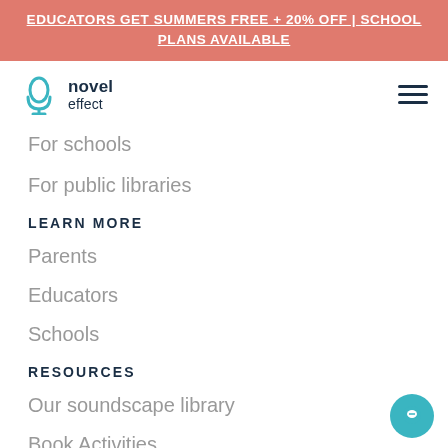EDUCATORS GET SUMMERS FREE + 20% OFF | SCHOOL PLANS AVAILABLE
[Figure (logo): Novel Effect logo with microphone icon]
For schools
For public libraries
LEARN MORE
Parents
Educators
Schools
RESOURCES
Our soundscape library
Book Activities